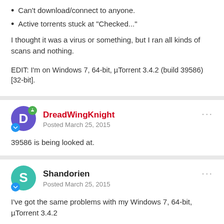Can't download/connect to anyone.
Active torrents stuck at "Checked..."
I thought it was a virus or something, but I ran all kinds of scans and nothing.
EDIT: I'm on Windows 7, 64-bit, µTorrent 3.4.2 (build 39586) [32-bit].
DreadWingKnight — Posted March 25, 2015
39586 is being looked at.
Shandorien — Posted March 25, 2015
I've got the same problems with my Windows 7, 64-bit, µTorrent 3.4.2